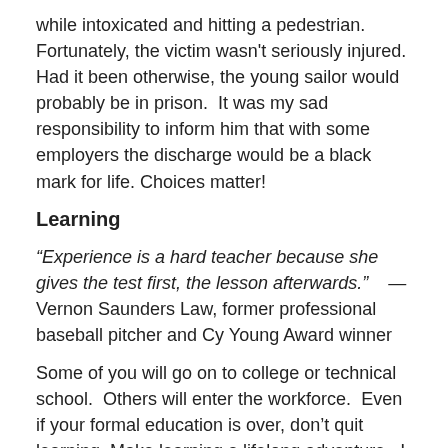while intoxicated and hitting a pedestrian. Fortunately, the victim wasn't seriously injured. Had it been otherwise, the young sailor would probably be in prison.  It was my sad responsibility to inform him that with some employers the discharge would be a black mark for life. Choices matter!
Learning
“Experience is a hard teacher because she gives the test first, the lesson afterwards.”    —Vernon Saunders Law, former professional baseball pitcher and Cy Young Award winner
Some of you will go on to college or technical school.  Others will enter the workforce.  Even if your formal education is over, don’t quit learning. Make learning a lifelong adventure.  I did my undergraduate work at the